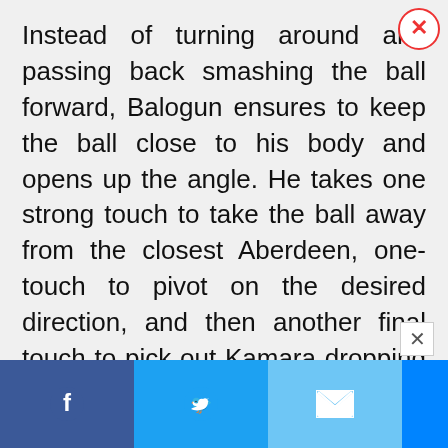Instead of turning around and passing back smashing the ball forward, Balogun ensures to keep the ball close to his body and opens up the angle. He takes one strong touch to take the ball away from the closest Aberdeen, one-touch to pivot on the desired direction, and then another final touch to pick out Kamara dropping into the midfield space vacated by the pressuring Dons' striker. The defender was aware of which player he was being marked by and knew that his position on the pitch would be left vacant, thereby taking full advantage using his passing skills and general awareness.
NEXT ARTICLE >